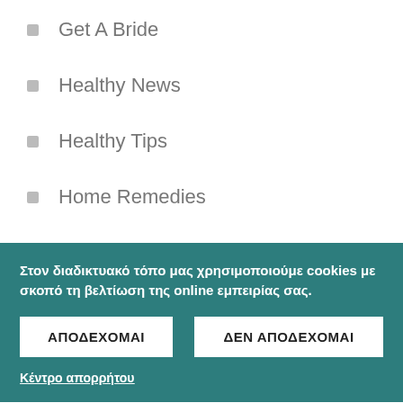Get A Bride
Healthy News
Healthy Tips
Home Remedies
International Dating Site
Στον διαδικτυακό τόπο μας χρησιμοποιούμε cookies με σκοπό τη βελτίωση της online εμπειρίας σας.
ΑΠΟΔΕΧΟΜΑΙ
ΔΕΝ ΑΠΟΔΕΧΟΜΑΙ
Κέντρο απορρήτου